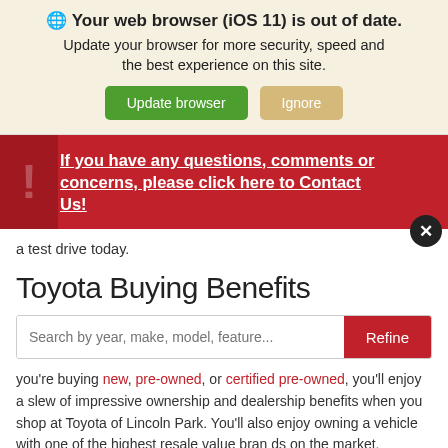🌐 Your web browser (iOS 11) is out of date. Update your browser for more security, speed and the best experience on this site.
Update browser | Ignore
If you have any questions, comments or concerns, please click here to Contact Us!
a test drive today.
Toyota Buying Benefits
Search by year, make, model, feature...
you're buying new, pre-owned, or certified pre-owned, you'll enjoy a slew of impressive ownership and dealership benefits when you shop at Toyota of Lincoln Park. You'll also enjoy owning a vehicle with one of the highest resale value brands on the market, unmatched warranty coverage, and unparalleled reliability. Additional Toyota ownership benefits